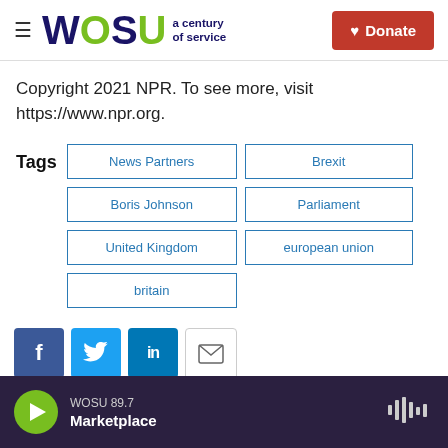WOSU a century of service | Donate
Copyright 2021 NPR. To see more, visit https://www.npr.org.
Tags: News Partners, Brexit, Boris Johnson, Parliament, United Kingdom, european union, britain
WOSU 89.7 Marketplace